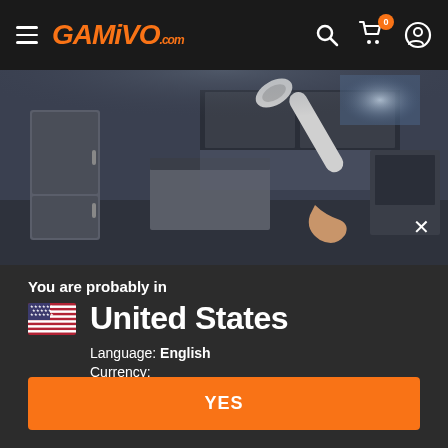GAMIVO.com
[Figure (screenshot): Game screenshot showing first-person view with wrench in kitchen environment]
You are probably in
United States
Language: English
Currency:
Switch to the local version of the website?
YES